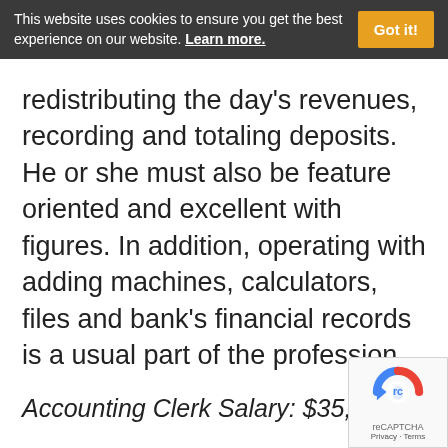This website uses cookies to ensure you get the best experience on our website. Learn more.
redistributing the day's revenues, recording and totaling deposits. He or she must also be feature oriented and excellent with figures. In addition, operating with adding machines, calculators, files and bank's financial records is a usual part of the profession.
Accounting Clerk Salary: $35,000.00
Working Persons Enterprises Inc. Job